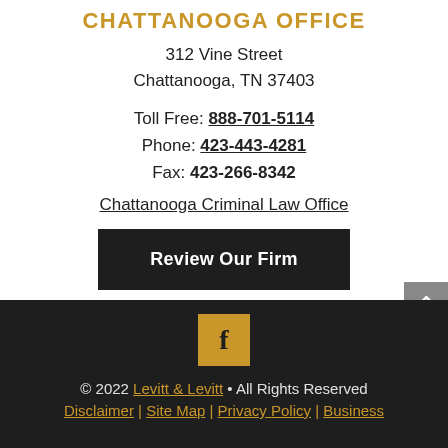CHATTANOOGA OFFICE
312 Vine Street
Chattanooga, TN 37403
Toll Free: 888-701-5114
Phone: 423-443-4281
Fax: 423-266-8342
Chattanooga Criminal Law Office
Review Our Firm
[Figure (logo): Facebook icon - gold/yellow square with white letter f]
© 2022 Levitt & Levitt • All Rights Reserved
Disclaimer | Site Map | Privacy Policy | Business